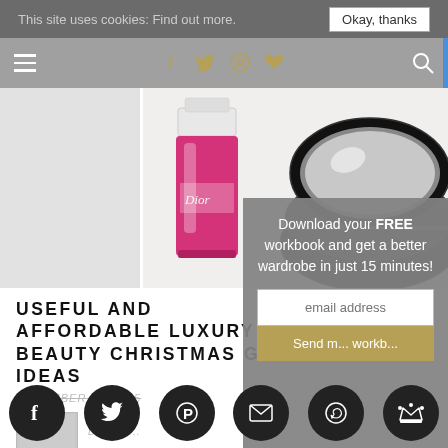This site uses cookies: Find out more.  Okay, thanks
[Figure (screenshot): Website navigation bar with hamburger menu, social icons (f, twitter, pinterest, heart) in gold, and search icon on grey background]
[Figure (photo): Hero image showing luxury beauty products: Dior pink nail polish bottle, black compact mirror, and slim product on white/grey background]
USEFUL AND AFFORDABLE LUXURY BEAUTY CHRISTMAS GIFT IDEAS
DECEMBER 12, 2015
[Figure (photo): Small thumbnail image placeholder]
ROS...
DECEM...
[Figure (screenshot): Popup overlay with text: Download your FREE workbook and get a better wardrobe in just 15 minutes! with email address input field and Send my workbook button]
[Figure (photo): Second small thumbnail image placeholder]
Social sharing bar with Facebook, Twitter, Pinterest, Email, WhatsApp, Crown icons